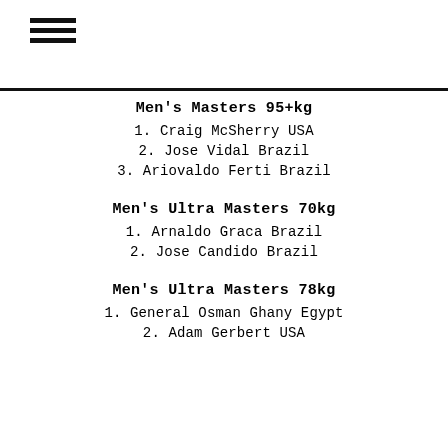≡
Men's Masters 95+kg
1. Craig McSherry USA
2. Jose Vidal Brazil
3. Ariovaldo Ferti Brazil
Men's Ultra Masters 70kg
1. Arnaldo Graca Brazil
2. Jose Candido Brazil
Men's Ultra Masters 78kg
1. General Osman Ghany Egypt
2. Adam Gerbert USA